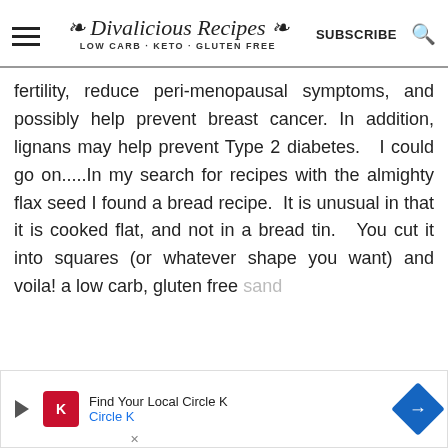Divalicious Recipes LOW CARB · KETO · GLUTEN FREE | SUBSCRIBE
fertility, reduce peri-menopausal symptoms, and possibly help prevent breast cancer. In addition, lignans may help prevent Type 2 diabetes.   I could go on.....In my search for recipes with the almighty flax seed I found a bread recipe.  It is unusual in that it is cooked flat, and not in a bread tin.   You cut it into squares (or whatever shape you want) and voila! a low carb, gluten free sand... Sand...
[Figure (other): Advertisement banner: Find Your Local Circle K - Circle K logo with navigation arrow icon]